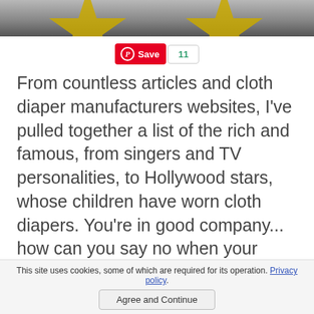[Figure (photo): Gray gradient background with two gold star shapes partially visible at top]
Save 11
From countless articles and cloth diaper manufacturers websites, I've pulled together a list of the rich and famous, from singers and TV personalities, to Hollywood stars, whose children have worn cloth diapers. You're in good company... how can you say no when your favorite celebrity is already endorsing cloth diapers?!?
This site uses cookies, some of which are required for its operation. Privacy policy.
Agree and Continue